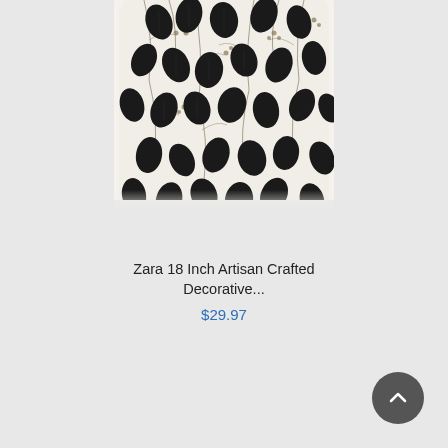[Figure (photo): A decorative throw pillow with black leaf and branch pattern with small beige/gold dots on a white/cream background, partially cropped showing the upper portion of the pillow]
Zara 18 Inch Artisan Crafted Decorative...
$29.97